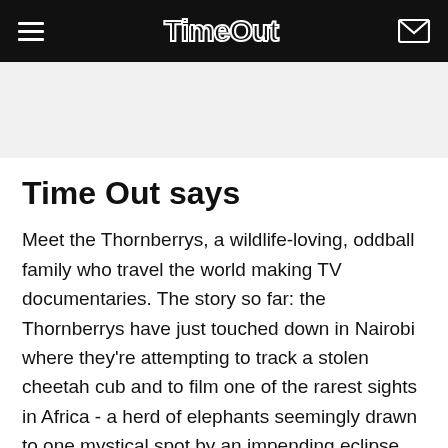Time Out
Time Out says
Meet the Thornberrys, a wildlife-loving, oddball family who travel the world making TV documentaries. The story so far: the Thornberrys have just touched down in Nairobi where they're attempting to track a stolen cheetah cub and to film one of the rarest sights in Africa - a herd of elephants seemingly drawn to one mystical spot by an impending eclipse. Meanwhile, all manner of shenanigans begin to unfold as it becomes clear that a group of poachers is planning grand scale entrapment. The neatly